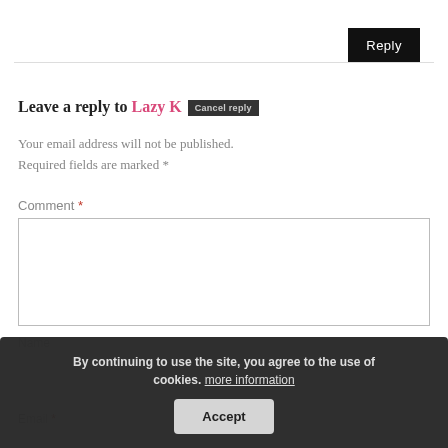Reply
Leave a reply to Lazy K Cancel reply
Your email address will not be published. Required fields are marked *
Comment *
Name *
Email *
By continuing to use the site, you agree to the use of cookies. more information Accept